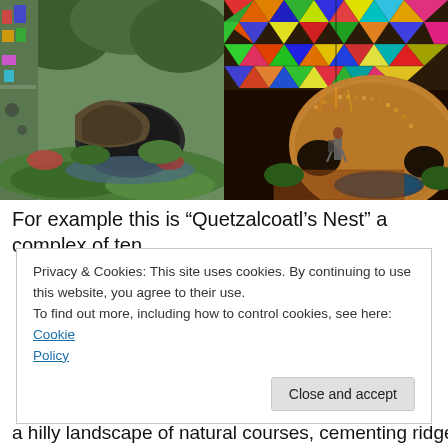[Figure (photo): Two side-by-side photos: left shows a lush green garden with a large curved tunnel/cave structure and mossy landscape; right shows a colorful stained-glass domed ceiling with rainbow geometric triangles and a curved mosaic building structure with a person walking nearby and a pool.]
For example this is “Quetzalcoatl’s Nest” a complex of ten
Privacy & Cookies: This site uses cookies. By continuing to use this website, you agree to their use.
To find out more, including how to control cookies, see here: Cookie Policy
[Close and accept]
a hilly landscape of natural courses, cementing ridges and